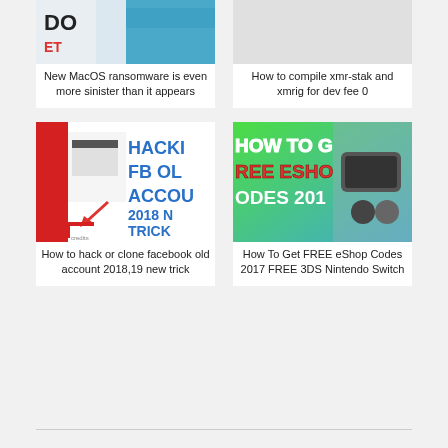[Figure (screenshot): Thumbnail for MacOS ransomware article showing blue and teal image with text 'DO' visible]
New MacOS ransomware is even more sinister than it appears
[Figure (screenshot): Thumbnail for xmr-stak compile article, appears blank/light]
How to compile xmr-stak and xmrig for dev fee 0
[Figure (screenshot): Thumbnail showing hacking facebook old account trick 2018 with blue bold text on white/red background]
How to hack or clone facebook old account 2018,19 new trick
[Figure (screenshot): Thumbnail showing how to get free eShop codes 2017 FREE 3DS Nintendo Switch with colorful background and gaming console]
How To Get FREE eShop Codes 2017 FREE 3DS Nintendo Switch